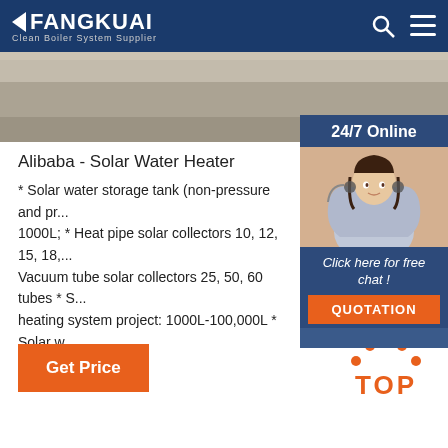FANGKUAI Clean Boiler System Supplier
[Figure (photo): Hero banner image showing industrial/building scene]
[Figure (photo): 24/7 Online sidebar widget with female agent photo wearing headset, Click here for free chat!, QUOTATION button]
Alibaba - Solar Water Heater
* Solar water storage tank (non-pressure and pressure): 100L-1000L; * Heat pipe solar collectors 10, 12, 15, 18,... Vacuum tube solar collectors 25, 50, 60 tubes * Solar heating system project: 1000L-100,000L * Solar w... 500L Market * ...
Get Price
[Figure (illustration): Orange TOP button with dots above forming a triangle/arrow shape]